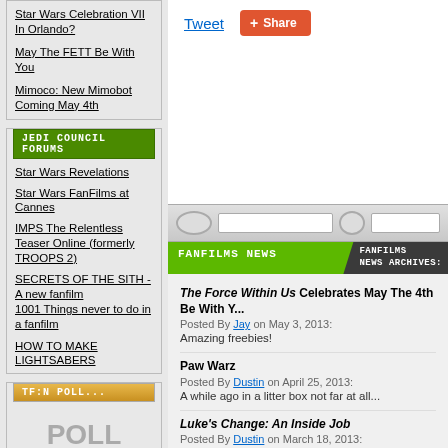Star Wars Celebration VII In Orlando?
May The FETT Be With You
Mimoco: New Mimobot Coming May 4th
JEDI COUNCIL FORUMS
Star Wars Revelations
Star Wars FanFilms at Cannes
IMPS The Relentless Teaser Online (formerly TROOPS 2)
SECRETS OF THE SITH - A new fanfilm
1001 Things never to do in a fanfilm
HOW TO MAKE LIGHTSABERS
TF:N POLL
POLL CLOSED
There are no polls currently operating in this sector. Please check
[Figure (screenshot): Tweet and Share buttons]
[Figure (screenshot): Browser chrome with address bar and navigation elements]
FANFILMS NEWS
FANFILMS NEWS ARCHIVES:
The Force Within Us Celebrates May The 4th Be With Y...
Posted By Jay on May 3, 2013:
Amazing freebies!
Paw Warz
Posted By Dustin on April 25, 2013:
A while ago in a litter box not far at all...
Luke's Change: An Inside Job
Posted By Dustin on March 18, 2013:
Was destruction of Death Star an inside job?
Lightsaber Battle
Posted By Dustin on December 29, 2012:
Fan made clip from YouTube
Kids & Star Wars Tackle Bullying In A New Web Series...
Posted By Mike on October 1, 2012: